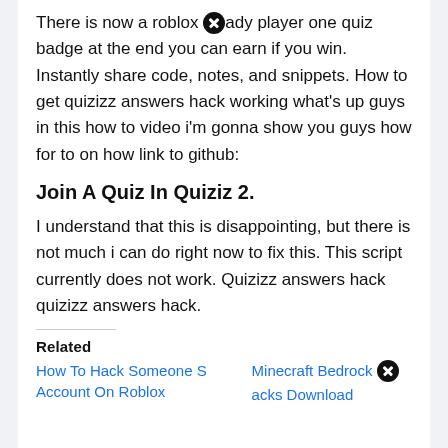There is now a roblox [X] ady player one quiz badge at the end you can earn if you win. Instantly share code, notes, and snippets. How to get quizizz answers hack working what's up guys in this how to video i'm gonna show you guys how for to on how link to github:
Join A Quiz In Quiziz 2.
I understand that this is disappointing, but there is not much i can do right now to fix this. This script currently does not work. Quizizz answers hack quizizz answers hack.
Related
How To Hack Someone S Account On Roblox
Minecraft Bedrock [X] acks Download